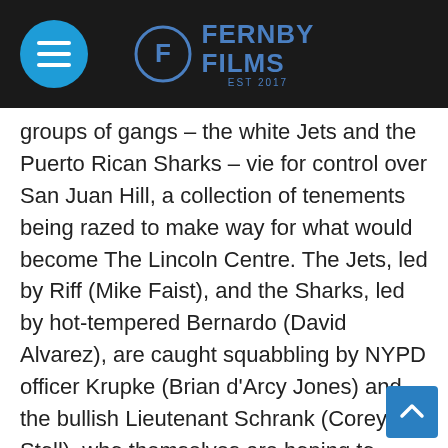Fernby Films
groups of gangs – the white Jets and the Puerto Rican Sharks – vie for control over San Juan Hill, a collection of tenements being razed to make way for what would become The Lincoln Centre. The Jets, led by Riff (Mike Faist), and the Sharks, led by hot-tempered Bernardo (David Alvarez), are caught squabbling by NYPD officer Krupke (Brian d'Arcy Jones) and the bullish Lieutenant Schrank (Corey Stoll), who themselves are hoping to prevent a turf war turning into a bloodbath. A young former Jet, Tony (Ansel Elgort) works in a low-paying job at the local general store, run by Valentina (Rita Moreno) and dreams of escaping the city following his release from prison. One evening at a local dance,